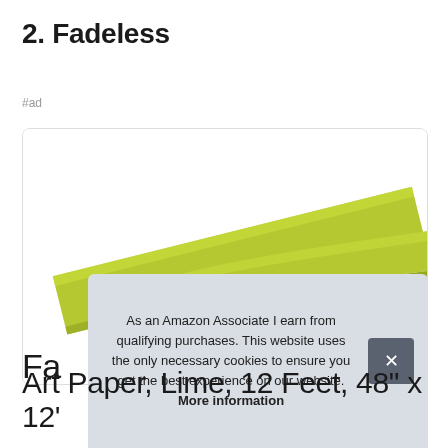2. Fadeless
#ad
[Figure (photo): A roll of lime/yellow-green Fadeless art paper, photographed diagonally showing the cylindrical roll from the end cap to the top right, on a white background.]
As an Amazon Associate I earn from qualifying purchases. This website uses the only necessary cookies to ensure you get the best experience on our website. More information
Fa
Art Paper, Lime, 12 Feet, 48" x 12'